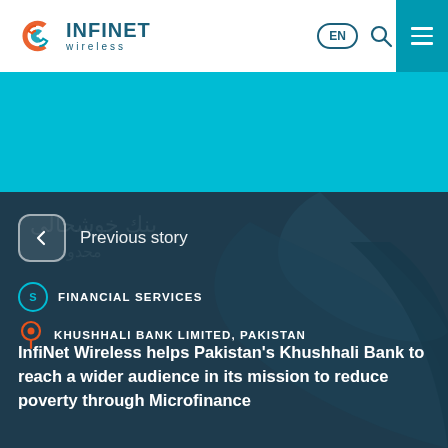INFINET wireless
[Figure (screenshot): InfiNet Wireless website screenshot showing header with logo, EN language button, search icon, and teal hamburger menu button]
Previous story
FINANCIAL SERVICES
KHUSHHALI BANK LIMITED, PAKISTAN
InfiNet Wireless helps Pakistan's Khushhali Bank to reach a wider audience in its mission to reduce poverty through Microfinance